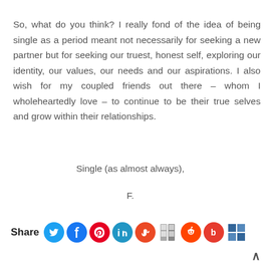So, what do you think? I really fond of the idea of being single as a period meant not necessarily for seeking a new partner but for seeking our truest, honest self, exploring our identity, our values, our needs and our aspirations. I also wish for my coupled friends out there – whom I wholeheartedly love – to continue to be their true selves and grow within their relationships.
Single (as almost always),
F.
[Figure (infographic): Share bar with social media icons: Twitter, Facebook, Pinterest, LinkedIn, StumbleUpon, Delicious, Reddit, Bloglovin, Delicious/other]